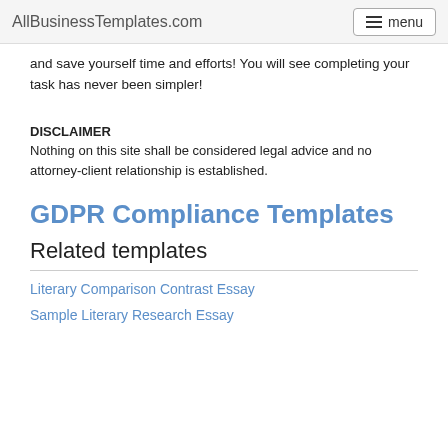AllBusinessTemplates.com  menu
and save yourself time and efforts! You will see completing your task has never been simpler!
DISCLAIMER
Nothing on this site shall be considered legal advice and no attorney-client relationship is established.
GDPR Compliance Templates
Related templates
Literary Comparison Contrast Essay
Sample Literary Research Essay